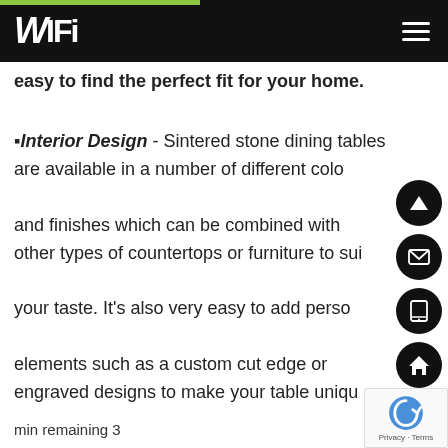WIFI
easy to find the perfect fit for your home.
▪Interior Design - Sintered stone dining tables are available in a number of different colors and finishes which can be combined with other types of countertops or furniture to suit your taste. It's also very easy to add personal elements such as a custom cut edge or engraved designs to make your table unique
min remaining 3